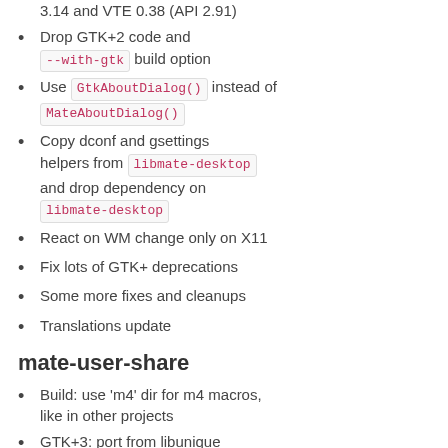3.14 and VTE 0.38 (API 2.91)
Drop GTK+2 code and --with-gtk build option
Use GtkAboutDialog() instead of MateAboutDialog()
Copy dconf and gsettings helpers from libmate-desktop and drop dependency on libmate-desktop
React on WM change only on X11
Fix lots of GTK+ deprecations
Some more fixes and cleanups
Translations update
mate-user-share
Build: use 'm4' dir for m4 macros, like in other projects
GTK+3: port from libunique to GtkApplication
Make distcheck use currently selected GTK+ version